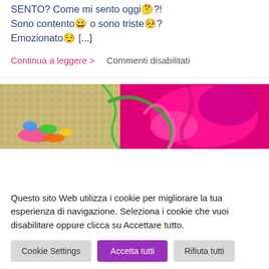SENTO? Come mi sento oggi🤔?! Sono contento😀 o sono triste🥺? Emozionato😌 [...]
Continua a leggere >    Commenti disabilitati
[Figure (photo): Close-up photo of colorful yarn balls and knitting needles, featuring bright pink, green, blue, orange and beige yarn against a woven fabric background.]
Questo sito Web utilizza i cookie per migliorare la tua esperienza di navigazione. Seleziona i cookie che vuoi disabilitare oppure clicca su Accettare tutto.
Cookie Settings    Accetta tutti    Rifiuta tutti